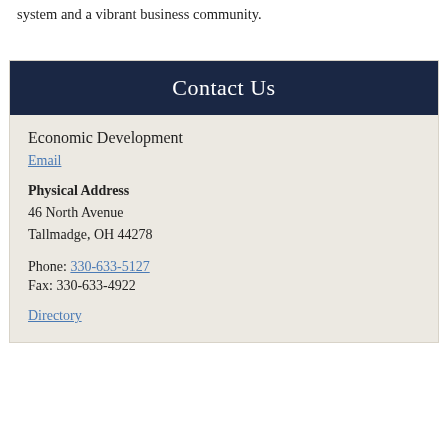system and a vibrant business community.
Contact Us
Economic Development
Email
Physical Address
46 North Avenue
Tallmadge, OH 44278
Phone: 330-633-5127
Fax: 330-633-4922
Directory